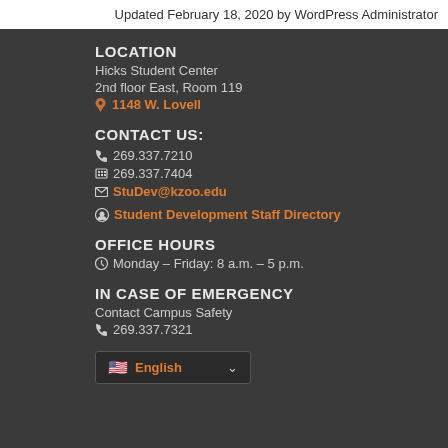Updated February 18, 2020 by WordPress Administrator
LOCATION
Hicks Student Center
2nd floor East, Room 119
📍 1148 W. Lovell
CONTACT US:
📞 269.337.7210
📠 269.337.7404
✉ StuDev@kzoo.edu
😊 Student Development Staff Directory
OFFICE HOURS
🕐 Monday – Friday: 8 a.m. – 5 p.m.
IN CASE OF EMERGENCY
Contact Campus Safety
📞 269.337.7321
English